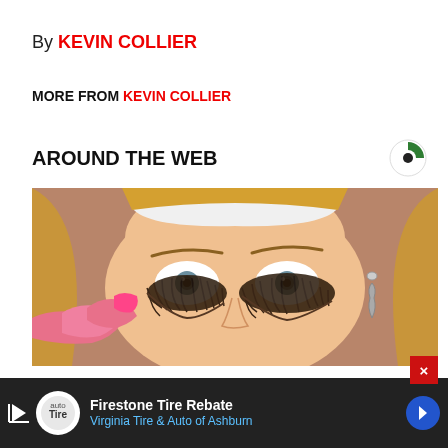By KEVIN COLLIER
MORE FROM KEVIN COLLIER
AROUND THE WEB
[Figure (photo): Woman with dramatic spider/lash eye makeup, blonde hair, pink nails, applying makeup near her eye. Teardrop earring visible.]
Firestone Tire Rebate
Virginia Tire & Auto of Ashburn